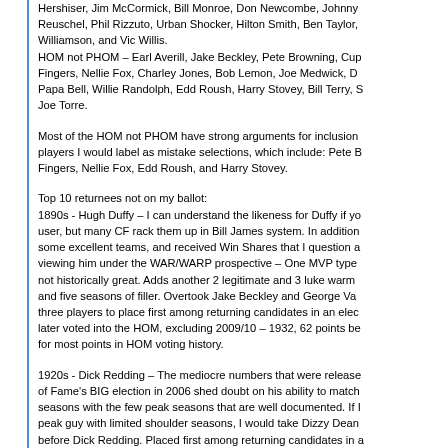Hershiser, Jim McCormick, Bill Monroe, Don Newcombe, Johnny Reuschel, Phil Rizzuto, Urban Shocker, Hilton Smith, Ben Taylor, Williamson, and Vic Willis.
HOM not PHOM – Earl Averill, Jake Beckley, Pete Browning, Cup Fingers, Nellie Fox, Charley Jones, Bob Lemon, Joe Medwick, D Papa Bell, Willie Randolph, Edd Roush, Harry Stovey, Bill Terry, S Joe Torre.
Most of the HOM not PHOM have strong arguments for inclusion players I would label as mistake selections, which include: Pete B Fingers, Nellie Fox, Edd Roush, and Harry Stovey.
Top 10 returnees not on my ballot:
1890s - Hugh Duffy – I can understand the likeness for Duffy if yo user, but many CF rack them up in Bill James system. In addition some excellent teams, and received Win Shares that I question a viewing him under the WAR/WARP prospective – One MVP type not historically great. Adds another 2 legitimate and 3 luke warm and five seasons of filler. Overtook Jake Beckley and George Va three players to place first among returning candidates in an elec later voted into the HOM, excluding 2009/10 – 1932, 62 points be for most points in HOM voting history.
1920s - Dick Redding – The mediocre numbers that were release of Fame's BIG election in 2006 shed doubt on his ability to match seasons with the few peak seasons that are well documented. If I peak guy with limited shoulder seasons, I would take Dizzy Dean before Dick Redding. Placed first among returning candidates in a later being voted into the HOM – 1998 – 8 points behind Jake Be